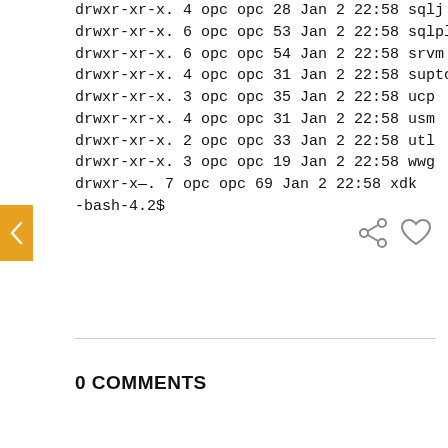drwxr-xr-x. 4 opc opc 28 Jan 2 22:58 sqlj
drwxr-xr-x. 6 opc opc 53 Jan 2 22:58 sqlplus
drwxr-xr-x. 6 opc opc 54 Jan 2 22:58 srvm
drwxr-xr-x. 4 opc opc 31 Jan 2 22:58 suptools
drwxr-xr-x. 3 opc opc 35 Jan 2 22:58 ucp
drwxr-xr-x. 4 opc opc 31 Jan 2 22:58 usm
drwxr-xr-x. 2 opc opc 33 Jan 2 22:58 utl
drwxr-xr-x. 3 opc opc 19 Jan 2 22:58 wwg
drwxr-x--. 7 opc opc 69 Jan 2 22:58 xdk
-bash-4.2$
[Figure (other): Navigation arrow button (left chevron) on orange background, and social icons (share and heart/like icons)]
0 COMMENTS